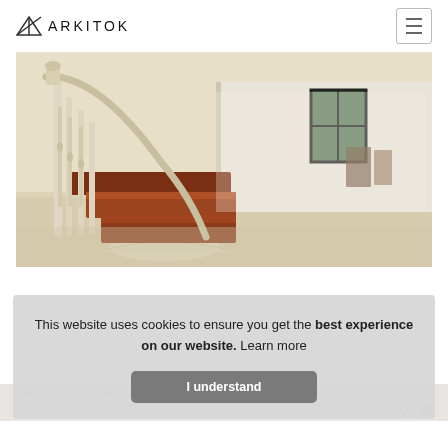ARKITOK
[Figure (photo): Interior architectural photo showing a classic staircase with cream/white painted balusters and dark mahogany/cherry wood treads, viewed from the ground floor. A window and dining area visible in the background through a doorway. Light terrazzo floor.]
This website uses cookies to ensure you get the best experience on our website. Learn more
I understand
© 2024. All rights reserved. Photographs: the mentioned office/photographer.
About us  Cookies policy  Contact us  Follow us